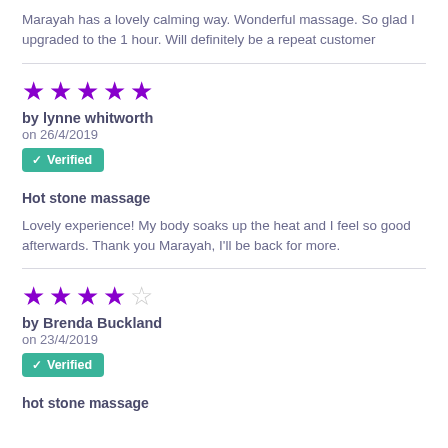Marayah has a lovely calming way. Wonderful massage. So glad I upgraded to the 1 hour. Will definitely be a repeat customer
[Figure (other): 5 filled purple stars rating]
by lynne whitworth
on 26/4/2019
✔ Verified
Hot stone massage
Lovely experience! My body soaks up the heat and I feel so good afterwards. Thank you Marayah, I'll be back for more.
[Figure (other): 4 filled purple stars and 1 empty star rating]
by Brenda Buckland
on 23/4/2019
✔ Verified
hot stone massage